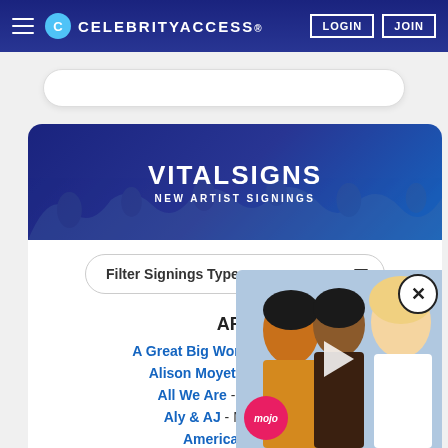CELEBRITYACCESS. LOGIN JOIN
[Figure (screenshot): CelebrityAccess website screenshot showing VitalSigns New Artist Signings section with filter dropdown and artist listing under APA agency]
VITALSIGNS
NEW ARTIST SIGNINGS
Filter Signings Type
APA
A Great Big World - Mike Hayes
Alison Moyet - Mike Hayes
All We Are - Mike Hayes
Aly & AJ - Mike Hayes
American Teeth - ...
Anniversar...